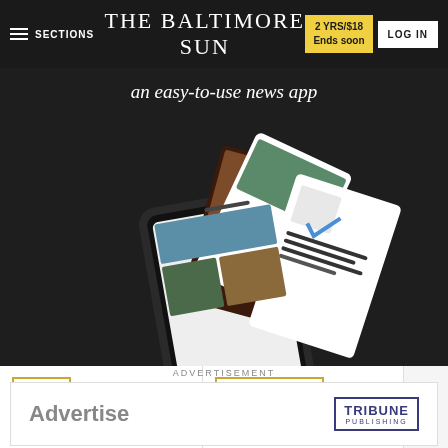SECTIONS | THE BALTIMORE SUN | 2 YRS/$18 Ends soon | LOG IN
[Figure (photo): Smartphone displaying The Baltimore Sun news app with multiple content screens fanning out from the phone, on a dark background, with text 'an easy-to-use news app' above]
an easy-to-use news app
HEALTH
Parasite treatment may help
HOWARD COUNTY
Bits & Pieces: Local Special Olympians shine bright again at
ADVERTISEMENT
[Figure (logo): Tribune Publishing advertisement banner with 'Advertise' text and Tribune Publishing logo]